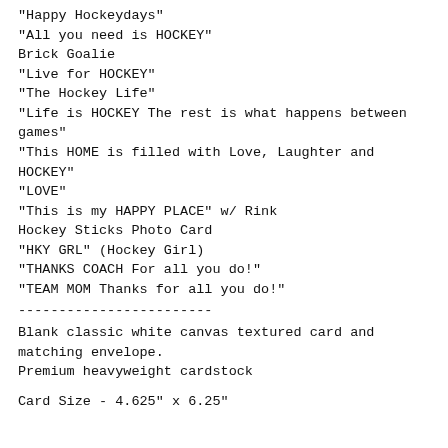"Happy Hockeydays"
"All you need is HOCKEY"
Brick Goalie
"Live for HOCKEY"
"The Hockey Life"
"Life is HOCKEY The rest is what happens between games"
"This HOME is filled with Love, Laughter and HOCKEY"
"LOVE"
"This is my HAPPY PLACE" w/ Rink
Hockey Sticks Photo Card
"HKY GRL" (Hockey Girl)
"THANKS COACH For all you do!"
"TEAM MOM Thanks for all you do!"
------------------------
Blank classic white canvas textured card and matching envelope. Premium heavyweight cardstock
Card Size - 4.625" x 6.25"